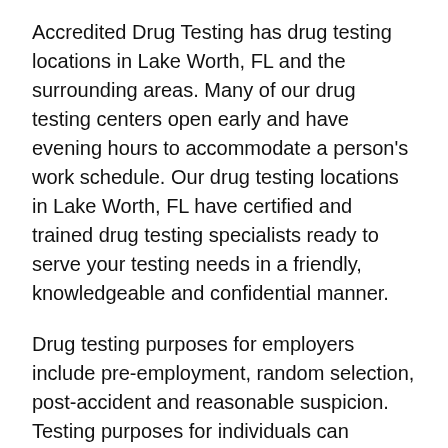Accredited Drug Testing has drug testing locations in Lake Worth, FL and the surrounding areas. Many of our drug testing centers open early and have evening hours to accommodate a person's work schedule. Our drug testing locations in Lake Worth, FL have certified and trained drug testing specialists ready to serve your testing needs in a friendly, knowledgeable and confidential manner.
Drug testing purposes for employers include pre-employment, random selection, post-accident and reasonable suspicion. Testing purposes for individuals can include court ordered, probation, child custody or for any other personal reason.
Accredited Drug Testing is a nationwide drug testing company with testing centers in Lake Worth, FL specializing in Drug, Alcohol, DNA testing. DOT Physicals and Background Checks.